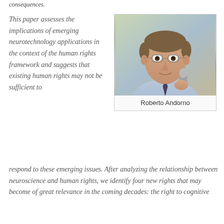consequences.
This paper assesses the implications of emerging neurotechnology applications in the context of the human rights framework and suggests that existing human rights may not be sufficient to respond to these emerging issues. After analyzing the relationship between neuroscience and human rights, we identify four new rights that may become of great relevance in the coming decades: the right to cognitive
[Figure (photo): Photograph of Roberto Andorno, a man wearing glasses and a tie, holding a microphone, speaking at an event.]
Roberto Andorno